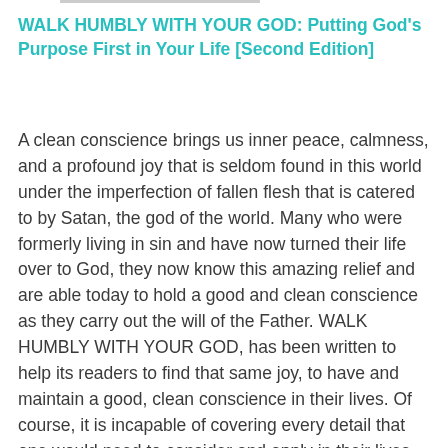WALK HUMBLY WITH YOUR GOD: Putting God's Purpose First in Your Life [Second Edition]
A clean conscience brings us inner peace, calmness, and a profound joy that is seldom found in this world under the imperfection of fallen flesh that is catered to by Satan, the god of the world. Many who were formerly living in sin and have now turned their life over to God, they now know this amazing relief and are able today to hold a good and clean conscience as they carry out the will of the Father. WALK HUMBLY WITH YOUR GOD, has been written to help its readers to find that same joy, to have and maintain a good, clean conscience in their lives. Of course, it is incapable of covering every detail that one would need to consider and apply in their lives …